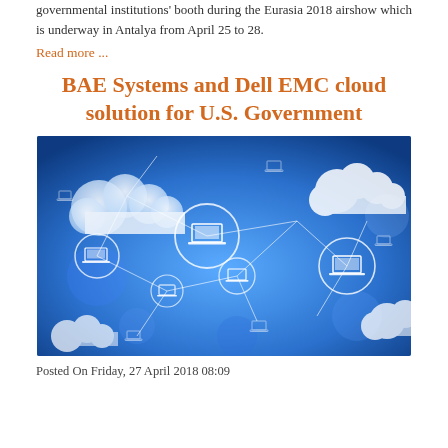governmental institutions' booth during the Eurasia 2018 airshow which is underway in Antalya from April 25 to 28.
Read more ...
BAE Systems and Dell EMC cloud solution for U.S. Government
[Figure (photo): Cloud computing network illustration showing laptops connected by lines and circles on a blue background with clouds]
Posted On Friday, 27 April 2018 08:09